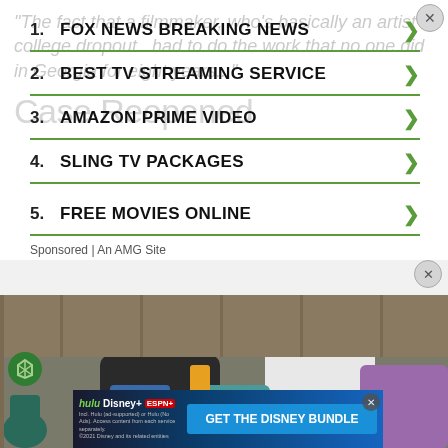"The fact that a filmmaker, who's basically an artist college dropout...had to do the work that no one did in Georgia for eight years..."
Case Reopened
1. FOX NEWS BREAKING NEWS
2. BEST TV STREAMING SERVICE
3. AMAZON PRIME VIDEO
4. SLING TV PACKAGES
5. FREE MOVIES ONLINE
Sponsored | An AMG Site
[Figure (photo): Two people sitting on a couch, one in a black t-shirt and blue jeans, one in a white shirt]
GET THE DISNEY BUNDLE
hulu Disney+ ESPN+
Incl. Hulu (ad-supported) or Hulu (No Ads). Access content from each service separately. ©2021 Disney and its related entities